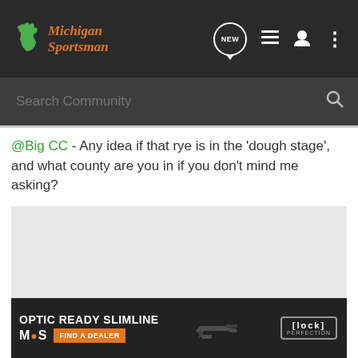Michigan Sportsman - NEW [new posts icon] [list icon] [user icon] [menu icon]
Search Community
@Big CC - Any idea if that rye is in the 'dough stage', and what county are you in if you don't mind me asking?
[Figure (photo): Glock Optic Ready Slimline advertisement banner with MOS logo, Find a Dealer orange button, gun image, and Glock Perfection badge]